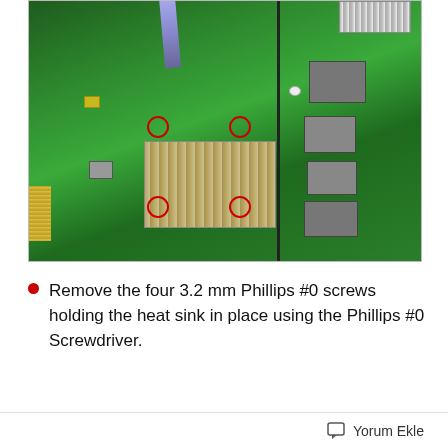[Figure (photo): Photograph of a laptop motherboard (green PCB) with a heatsink in the center. Four red circles highlight screw locations around the heatsink. A Phillips #0 screwdriver is visible at the top being used to remove the screws. A vertical divider shows the underside of the board on the right.]
Remove the four 3.2 mm Phillips #0 screws holding the heat sink in place using the Phillips #0 Screwdriver.
Yorum Ekle